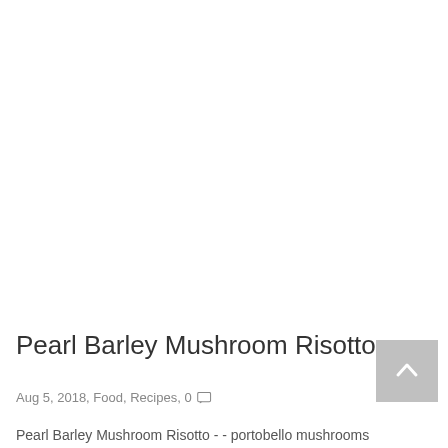[Figure (photo): White/blank image area at top of page for Pearl Barley Mushroom Risotto article]
Pearl Barley Mushroom Risotto
Aug 5, 2018, Food, Recipes, 0
Pearl Barley Mushroom Risotto - - portobello mushrooms